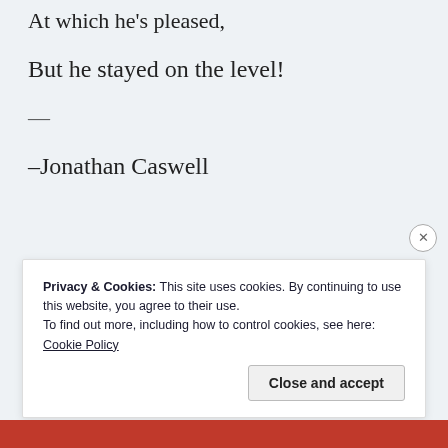At which he's pleased,
But he stayed on the level!
—
–Jonathan Caswell
Privacy & Cookies: This site uses cookies. By continuing to use this website, you agree to their use.
To find out more, including how to control cookies, see here: Cookie Policy